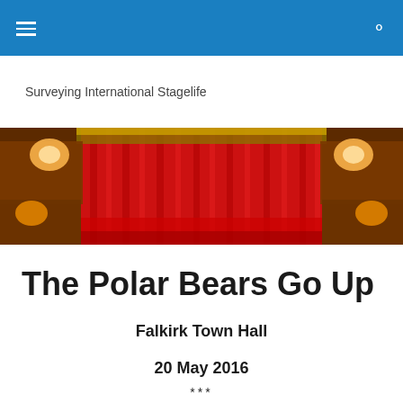Surveying International Stagelife
[Figure (photo): Theater interior with red velvet curtain center stage, ornate gold balconies on both sides, warm stage lighting]
The Polar Bears Go Up
Falkirk Town Hall
20 May 2016
***